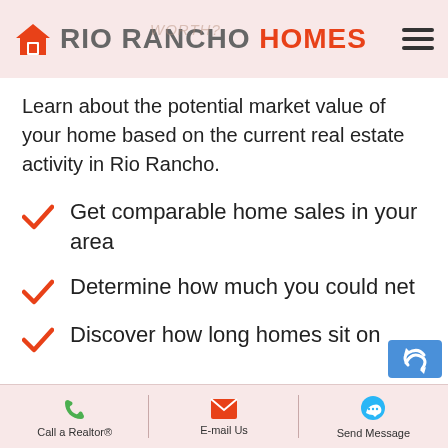Rio Rancho Homes
Learn about the potential market value of your home based on the current real estate activity in Rio Rancho.
Get comparable home sales in your area
Determine how much you could net
Discover how long homes sit on
Call a Realtor® | E-mail Us | Send Message